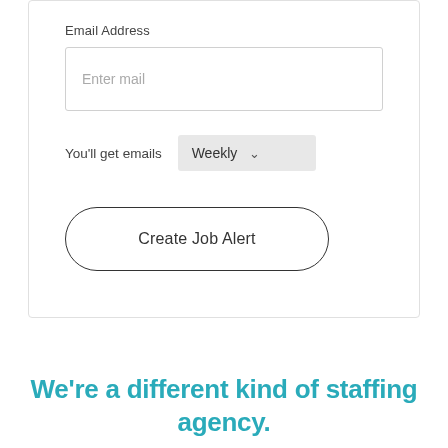Email Address
Enter mail
You'll get emails
Weekly
Create Job Alert
We're a different kind of staffing agency.